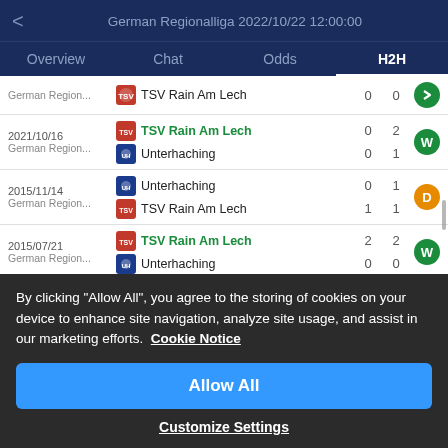German Regionalliga 2022/10/22 12:00:00
| Overview | Chat | Odds | H2H |
| --- | --- | --- | --- |
| Date/League | Team | Score1 | Score2 | Result |
| --- | --- | --- | --- | --- |
|  | TSV Rain Am Lech | 0 | 0 | → |
| 2021/10/16 German Region... | TSV Rain Am Lech / Unterhaching | 0 / 0 | 2 / 1 | W |
| 2015/11/14 German Region... | Unterhaching / TSV Rain Am Lech | 0 / 1 | 1 / 1 | D |
| 2015/07/21 German Region... | TSV Rain Am Lech / Unterhaching | 2 / 0 | 2 / 0 | W |
By clicking "Allow All", you agree to the storing of cookies on your device to enhance site navigation, analyze site usage, and assist in our marketing efforts.  Cookie Notice
Allow All
Customize Settings